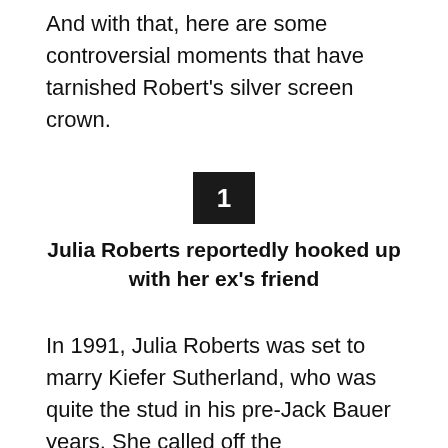And with that, here are some controversial moments that have tarnished Robert's silver screen crown.
[Figure (other): Black square with white number 1 inside]
Julia Roberts reportedly hooked up with her ex's friend
In 1991, Julia Roberts was set to marry Kiefer Sutherland, who was quite the stud in his pre-Jack Bauer years. She called off the engagement just three days before the nuptials. According to the New York Daily